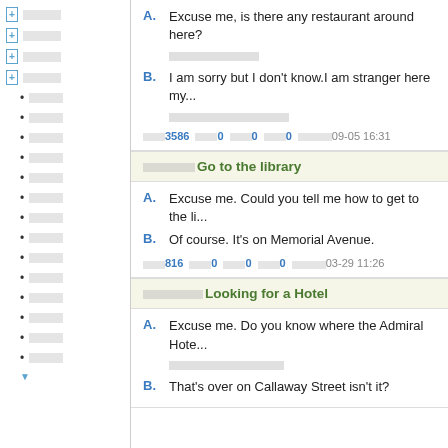[+] □□□□
[+] □□□□
[+] □□□□
[+] □□□□
• □□□□
• □□□□
• □□□□
• □□□□
• □□□□
• □□□□
• □□□□
• □□□□
• □□□□
• □□□□
• □□□□
• □□□□
• □□□□
• □□□□
A. Excuse me, is there any restaurant around here?
□□□□□□□□□□□□
B. I am sorry but I don't know.I am stranger here my...
□□□□□□□□□□□□□□□□
□□□3586  □□□0  □□□0  □□□0  □□□□□09-05 16:31
□□□□□□□Go to the library
A. Excuse me. Could you tell me how to get to the li...
B. Of course. It's on Memorial Avenue.
□□□816  □□□0  □□□0  □□□0  □□□□□03-29 11:26
□□□□□□□□Looking for a Hotel
A. Excuse me. Do you know where the Admiral Hote...
□□□□□□□□□□□□□□□□
B. That's over on Callaway Street isn't it?